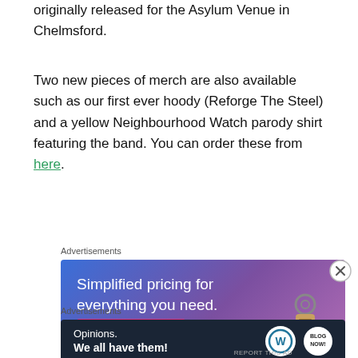originally released for the Asylum Venue in Chelmsford.
Two new pieces of merch are also available such as our first ever hoody (Reforge The Steel) and a yellow Neighbourhood Watch parody shirt featuring the band. You can order these from here.
Advertisements
[Figure (screenshot): Advertisement banner: 'Simplified pricing for everything you need.' with a pink 'Build Your Website' button and a key tag illustration, blue-purple gradient background.]
[Figure (other): Close button (X circle) for advertisement]
Advertisements
[Figure (screenshot): Advertisement banner on dark background: 'Opinions. We all have them!' with WordPress and Blog logos.]